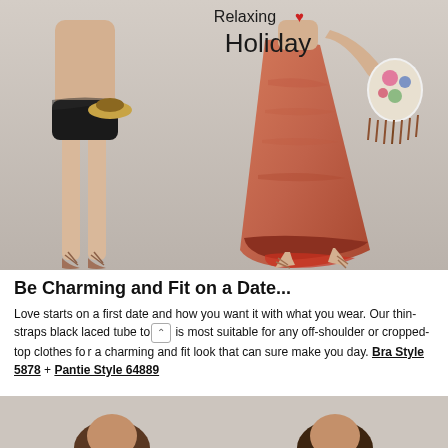[Figure (photo): Fashion advertisement photo showing two women: left figure from behind wearing black lace underwear and holding a hat, right figure in coral/orange maxi dress holding a floral bag, with text 'Relaxing ♥ Holiday' overlaid at top center]
Be Charming and Fit on a Date...
Love starts on a first date and how you want it with what you wear. Our thin-straps black laced tube top is most suitable for any off-shoulder or cropped-top clothes for a charming and fit look that can sure make you day. Bra Style 5878 + Pantie Style 64889
[Figure (photo): Bottom strip showing two women's heads/hair partially visible, cropped at bottom of page]